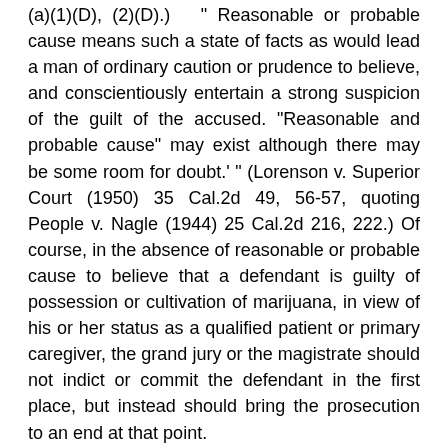(a)(1)(D), (2)(D).)  " Reasonable or probable cause means such a state of facts as would lead a man of ordinary caution or prudence to believe, and conscientiously entertain a strong suspicion of the guilt of the accused. "Reasonable and probable cause" may exist although there may be some room for doubt.' " (Lorenson v. Superior Court (1950) 35 Cal.2d 49, 56-57, quoting People v. Nagle (1944) 25 Cal.2d 216, 222.) Of course, in the absence of reasonable or probable cause to believe that a defendant is guilty of possession or cultivation of marijuana, in view of his or her status as a qualified patient or primary caregiver, the grand jury or the magistrate should not indict or commit the defendant in the first place, but instead should bring the prosecution to an end at that point.
Although we thus conclude that section 11362.5(d) reasonably must be interpreted to grant a defendant a limited immunity from prosecution allowing him or her to move to set aside an indictment or information